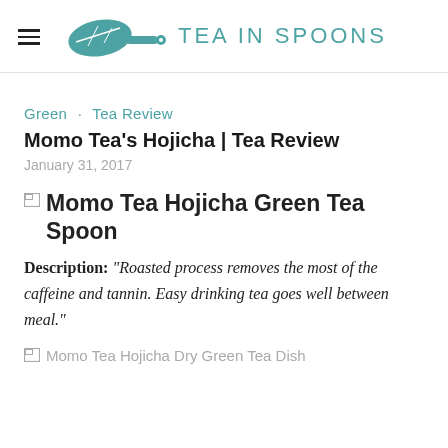TEA IN SPOONS
Green · Tea Review
Momo Tea's Hojicha | Tea Review
January 31, 2017
[Figure (photo): Momo Tea Hojicha Green Tea Spoon — broken/missing image placeholder with alt text]
Description: "Roasted process removes the most of the caffeine and tannin. Easy drinking tea goes well between meal."
[Figure (photo): Momo Tea Hojicha Dry Green Tea Dish — broken/missing image placeholder with alt text]